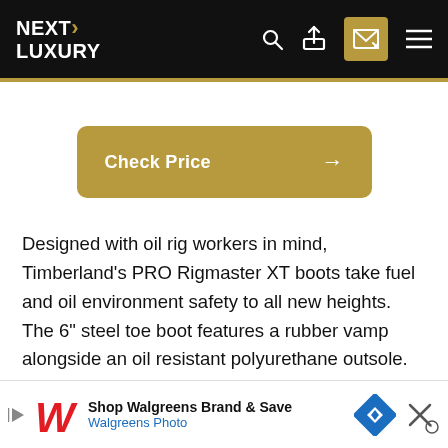NEXT LUXURY
Check Price →
Designed with oil rig workers in mind, Timberland's PRO Rigmaster XT boots take fuel and oil environment safety to all new heights. The 6" steel toe boot features a rubber vamp alongside an oil resistant polyurethane outsole. Their waterproof construction keeps your feet dry while Timberland's unique Dynamic Anti-Fatigue technology footed
[Figure (infographic): Advertisement banner: Shop Walgreens Brand & Save - Walgreens Photo, with Walgreens logo and blue diamond navigation icon]